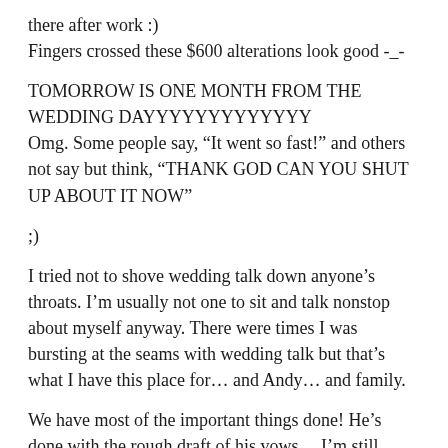there after work :)
Fingers crossed these $600 alterations look good -_-
TOMORROW IS ONE MONTH FROM THE WEDDING DAYYYYYYYYYYYYY
Omg. Some people say, “It went so fast!” and others not say but think, “THANK GOD CAN YOU SHUT UP ABOUT IT NOW”
;)
I tried not to shove wedding talk down anyone’s throats. I’m usually not one to sit and talk nonstop about myself anyway. There were times I was bursting at the seams with wedding talk but that’s what I have this place for… and Andy… and family.
We have most of the important things done! He’s done with the rough draft of his vows… I’m still working on mine.
This may be missing from the page, but there is more text below.